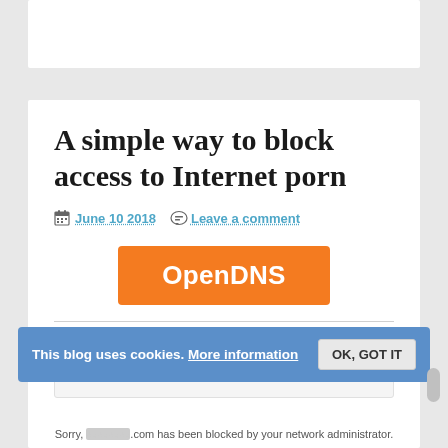[Figure (screenshot): Top white bar area at the top of the page (browser/ad area)]
A simple way to block access to Internet porn
June 10 2018  Leave a comment
[Figure (logo): OpenDNS orange logo button]
[Figure (screenshot): Content filtering block notice: 'This site is blocked due to content filtering.' with warning triangle icon]
This blog uses cookies. More information  OK, GOT IT
Sorry, [redacted].com has been blocked by your network administrator.